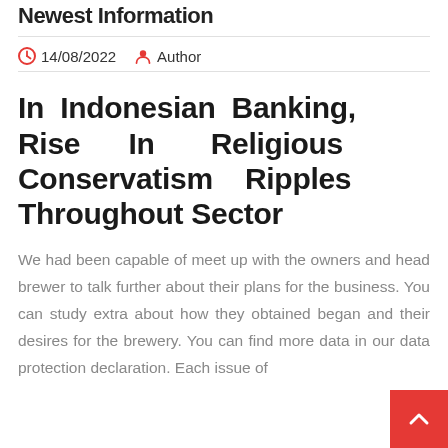Newest Information
14/08/2022   Author
In Indonesian Banking, Rise In Religious Conservatism Ripples Throughout Sector
We had been capable of meet up with the owners and head brewer to talk further about their plans for the business. You can study extra about how they obtained began and their desires for the brewery. You can find more data in our data protection declaration. Each issue of